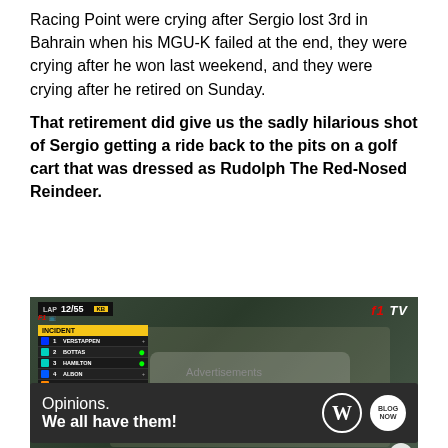Racing Point were crying after Sergio lost 3rd in Bahrain when his MGU-K failed at the end, they were crying after he won last weekend, and they were crying after he retired on Sunday.
That retirement did give us the sadly hilarious shot of Sergio getting a ride back to the pits on a golf cart that was dressed as Rudolph The Red-Nosed Reindeer.
[Figure (screenshot): F1 TV broadcast screenshot showing a golf cart scene with a race timing overlay showing LAP 12/55, an INCIDENT panel listing drivers: VERSTAPPEN, BOTTAS, HAMILTON, ALBON, RICCIARDO, NORRIS]
Advertisements
[Figure (other): Advertisement banner with dark background reading 'Opinions. We all have them!' with WordPress logo and another circular logo]